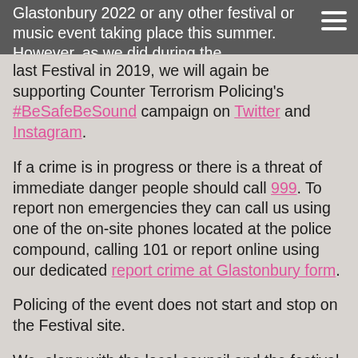Glastonbury 2022 or any other festival or music event taking place this summer. However, as we did during the last Festival in 2019, we will again be supporting Counter Terrorism Policing's #BeSafeBeSound campaign on Twitter and Instagram.
If a crime is in progress or there is a threat of immediate danger people should call 999. To report non emergencies they can call us using one of the on-site phones located at the police compound, calling 101 or report online using our dedicated report crime at Glastonbury form.
Policing of the event does not start and stop on the Festival site.
We, along with the local council and the festival, will have representatives at Pilton Village Hall throughout the event for local people to speak to should they have any concerns or worries.